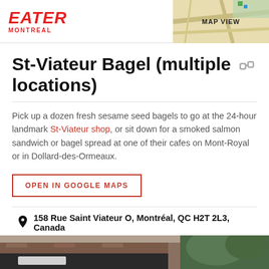EATER MONTREAL
St-Viateur Bagel (multiple locations)
Pick up a dozen fresh sesame seed bagels to go at the 24-hour landmark St-Viateur shop, or sit down for a smoked salmon sandwich or bagel spread at one of their cafes on Mont-Royal or in Dollard-des-Ormeaux.
OPEN IN GOOGLE MAPS
158 Rue Saint Viateur O, Montréal, QC H2T 2L3, Canada
(514) 276-8044
Visit Website
[Figure (photo): Bottom portion of a storefront building with brick facade and green foliage visible]